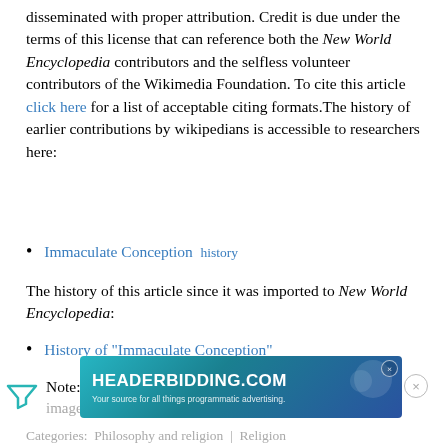disseminated with proper attribution. Credit is due under the terms of this license that can reference both the New World Encyclopedia contributors and the selfless volunteer contributors of the Wikimedia Foundation. To cite this article click here for a list of acceptable citing formats.The history of earlier contributions by wikipedians is accessible to researchers here:
Immaculate Conception  history
The history of this article since it was imported to New World Encyclopedia:
History of "Immaculate Conception"
Note: Some restrictions may apply to use of individual images which are separately licensed.
[Figure (other): HEADERBIDDING.COM advertisement banner - Your source for all things programmatic advertising.]
Categories:  Philosophy and religion  |  Religion